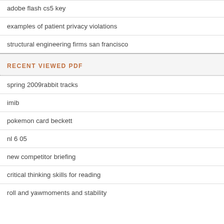adobe flash cs5 key
examples of patient privacy violations
structural engineering firms san francisco
RECENT VIEWED PDF
spring 2009rabbit tracks
imib
pokemon card beckett
nl 6 05
new competitor briefing
critical thinking skills for reading
roll and yawmoments and stability